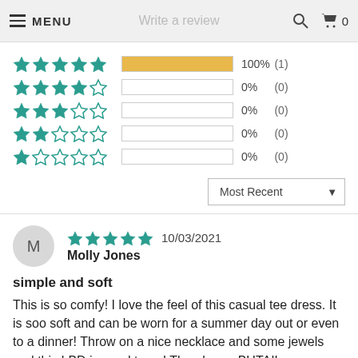MENU | Write a review | 🔍 🛒 0
[Figure (infographic): Rating breakdown: 5 stars 100% (1), 4 stars 0% (0), 3 stars 0% (0), 2 stars 0% (0), 1 star 0% (0)]
Most Recent ▼
M  ★★★★★ 10/03/2021  Molly Jones
simple and soft
This is so comfy! I love the feel of this casual tee dress. It is soo soft and can be worn for a summer day out or even to a dinner! Throw on a nice necklace and some jewels and this LBD is good to go! The always BUTAIL...